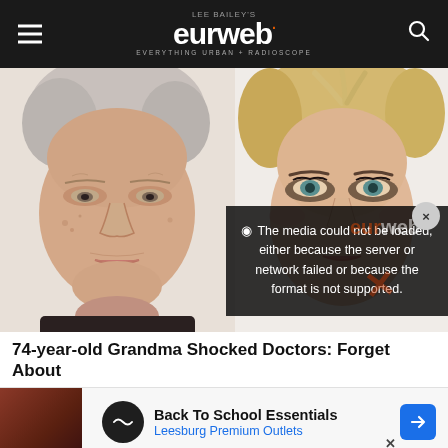LEE BAILEY'S eurweb EVERYTHING URBAN + RADIOSCOPE
[Figure (photo): Before and after photo of a woman's face showing makeup/beauty transformation. Left side shows an older woman with natural grey hair and no makeup. Right side shows the same or similar woman with styled blonde pixie cut and dramatic eye makeup.]
The media could not be loaded, either because the server or network failed or because the format is not supported.
74-year-old Grandma Shocked Doctors: Forget About
Back To School Essentials
Leesburg Premium Outlets